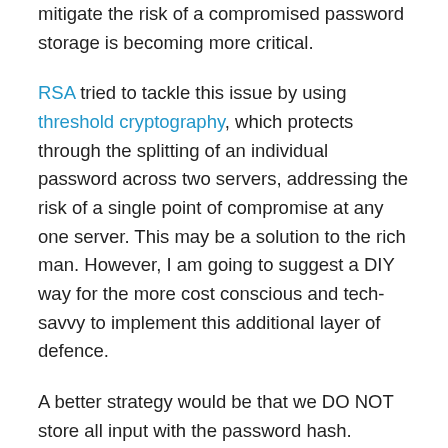mitigate the risk of a compromised password storage is becoming more critical.
RSA tried to tackle this issue by using threshold cryptography, which protects through the splitting of an individual password across two servers, addressing the risk of a single point of compromise at any one server. This may be a solution to the rich man. However, I am going to suggest a DIY way for the more cost conscious and tech-savvy to implement this additional layer of defence.
A better strategy would be that we DO NOT store all input with the password hash. Making it less feasible to automate a password cracking system.  When a password is required to be retrieved through a manual process that requires human interactions, it changes the game